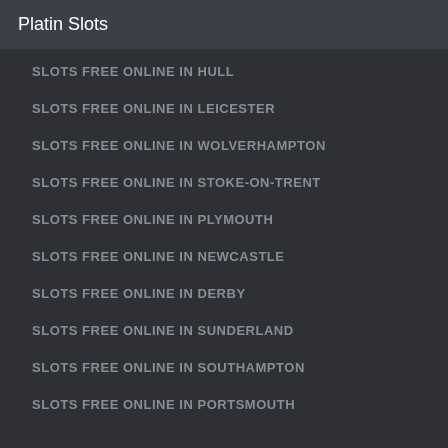Platin Slots
SLOTS FREE ONLINE IN HULL
SLOTS FREE ONLINE IN LEICESTER
SLOTS FREE ONLINE IN WOLVERHAMPTON
SLOTS FREE ONLINE IN STOKE-ON-TRENT
SLOTS FREE ONLINE IN PLYMOUTH
SLOTS FREE ONLINE IN NEWCASTLE
SLOTS FREE ONLINE IN DERBY
SLOTS FREE ONLINE IN SUNDERLAND
SLOTS FREE ONLINE IN SOUTHAMPTON
SLOTS FREE ONLINE IN PORTSMOUTH